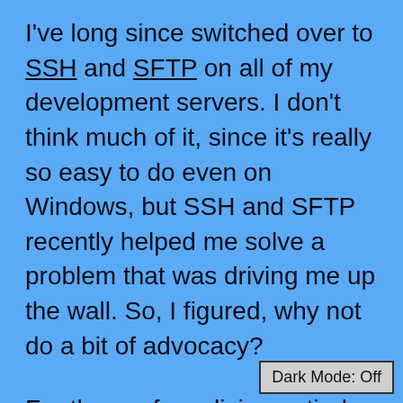I've long since switched over to SSH and SFTP on all of my development servers. I don't think much of it, since it's really so easy to do even on Windows, but SSH and SFTP recently helped me solve a problem that was driving me up the wall. So, I figured, why not do a bit of advocacy?
For those of you living entirely in a third-world country, SSH is secure shell, and can be thought of as a cryptographically-secure form of telnet. SFTP is a file-transfer protocol built on top of SSH. There are several
Dark Mode: Off